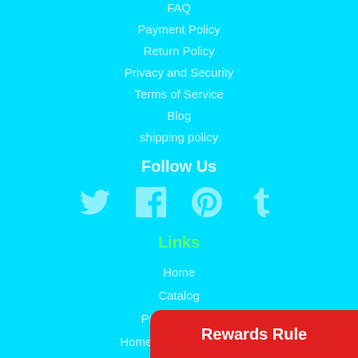FAQ
Payment Policy
Return Policy
Privacy and Security
Terms of Service
Blog
shipping policy
Follow Us
[Figure (infographic): Social media icons: Twitter, Facebook, Pinterest, Tumblr]
Links
Home
Catalog
Prom Dresses
Homecoming Dresses
Bridesmaid Dresses
Rewards Rule